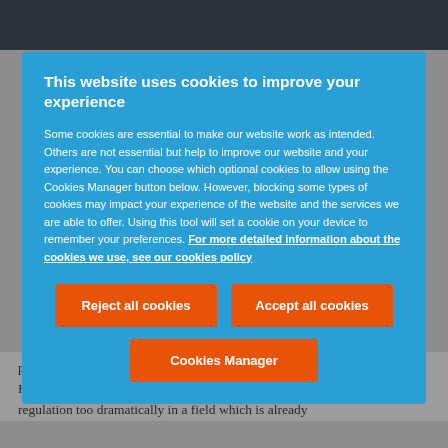This website uses cookies to improve your experience
Some cookies are essential to make our website work as intended. Others are not essential but help to improve our website and your experience. You can choose which optional cookies to allow using the Cookies Manager button below. However, blocking some types of cookies may impact your experience of the website and the services we are able to offer. Using this tool will set a cookie on your device to remember your preferences. For more detailed information about the cookies we use, see our cookies policy
Reject all cookies
Accept all cookies
Cookies Manager
price regulation based on claims of 'pure overcharging'. Flynn claims that the CMA is intervening in the price regulation too dramatically in a field which is already